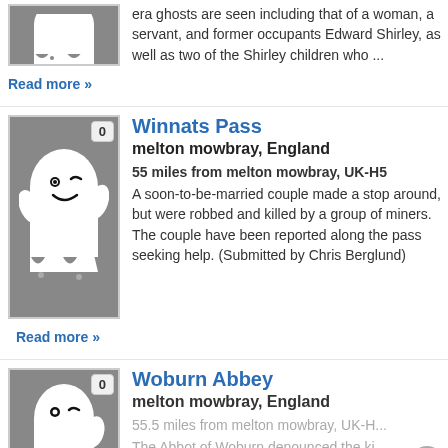[Figure (illustration): Partial ghost illustration thumbnail at top, showing bottom of a ghost-like figure on dark gray background]
era ghosts are seen including that of a woman, a servant, and former occupants Edward Shirley, as well as two of the Shirley children who ...
Read more »
Winnats Pass
melton mowbray, England
55 miles from melton mowbray, UK-H5
A soon-to-be-married couple made a stop around, but were robbed and killed by a group of miners. The couple have been reported along the pass seeking help. (Submitted by Chris Berglund)
[Figure (illustration): Ghost illustration: white cartoon ghost with smiling face on dark gray background, with badge showing '0']
Read more »
Woburn Abbey
melton mowbray, England
55.5 miles from melton mowbray, UK-H...
The Abbot of Woburn denounced the ki...
[Figure (illustration): Partial ghost illustration thumbnail at bottom, showing ghost figure on gray background, with badge showing '0']